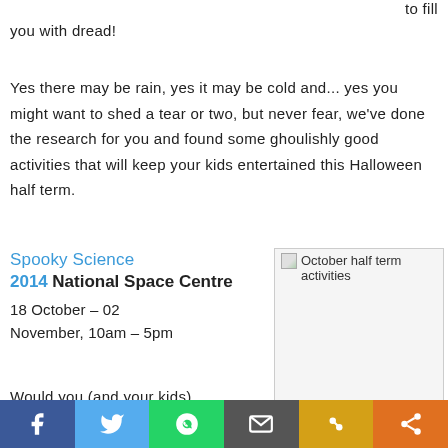to fill
you with dread!
Yes there may be rain, yes it may be cold and... yes you might want to shed a tear or two, but never fear, we've done the research for you and found some ghoulishly good activities that will keep your kids entertained this Halloween half term.
Spooky Science 2014 National Space Centre
18 October – 02 November, 10am – 5pm
[Figure (photo): October half term activities image placeholder]
Would you (and your kids)